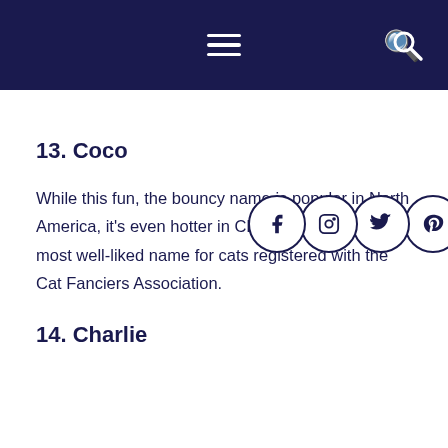navigation header with hamburger menu and search icon
13. Coco
While this fun, the bouncy name is popular in North America, it's even hotter in China, where it's the 3rd most well-liked name for cats registered with the Cat Fanciers Association.
14. Charlie